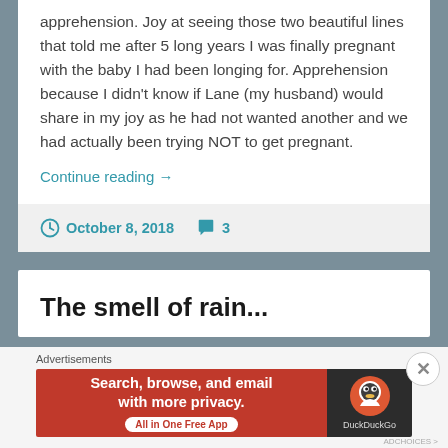apprehension. Joy at seeing those two beautiful lines that told me after 5 long years I was finally pregnant with the baby I had been longing for. Apprehension because I didn't know if Lane (my husband) would share in my joy as he had not wanted another and we had actually been trying NOT to get pregnant.
Continue reading →
October 8, 2018   3
The smell of rain...
Advertisements
[Figure (screenshot): DuckDuckGo advertisement banner: orange left section with text 'Search, browse, and email with more privacy. All in One Free App', and dark right section with DuckDuckGo logo and brand name.]